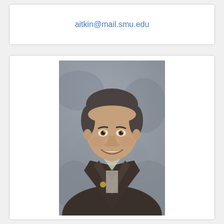aitkin@mail.smu.edu
[Figure (photo): Professional headshot of a young man with short dark hair, smiling, wearing a dark brown blazer over a patterned shirt, against a grey mottled background.]